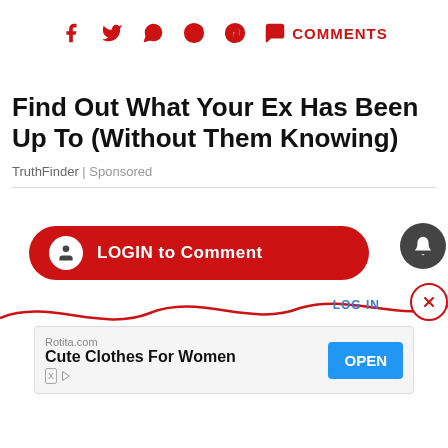[Figure (infographic): Social share bar with icons for Facebook, Twitter, WhatsApp, Reddit, Pinterest, Comments in dark red]
Find Out What Your Ex Has Been Up To (Without Them Knowing)
TruthFinder | Sponsored
[Figure (screenshot): LOGIN to Comment red pill button with user icon, notification bell icon, LOG IN text link, X close button, red wave line, and ad banner for Rotita.com Cute Clothes For Women with OPEN button]